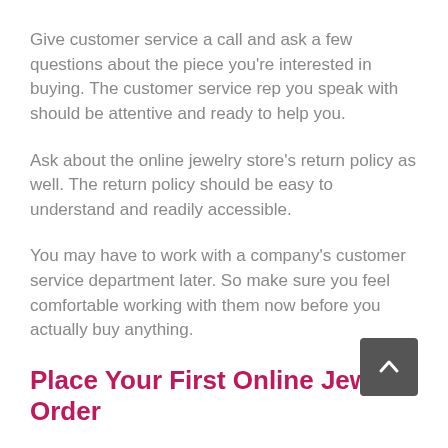Give customer service a call and ask a few questions about the piece you’re interested in buying. The customer service rep you speak with should be attentive and ready to help you.
Ask about the online jewelry store’s return policy as well. The return policy should be easy to understand and readily accessible.
You may have to work with a company’s customer service department later. So make sure you feel comfortable working with them now before you actually buy anything.
Place Your First Online Jewelry Order
Once you’ve done everything else that we’ve laid